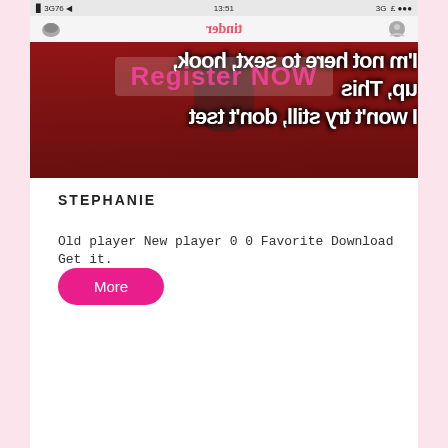[Figure (screenshot): Screenshot of the Tinder app showing a profile photo with mirrored/reversed text overlay reading 'I'm not here to sext, hook, up, This...' and a pink 'Register NOW' overlay button. The Tinder logo appears in the top bar mirrored.]
STEPHANIE
Old player New player 0 0 Favorite Download Get it.
More